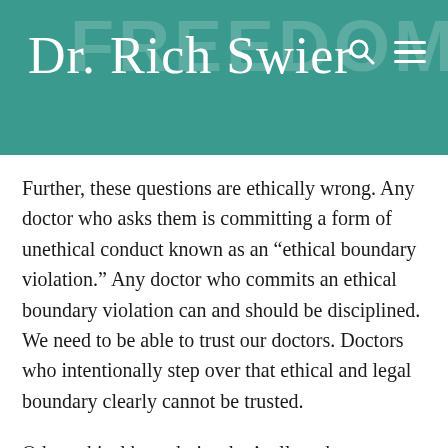Dr. Rich Swier
Further, these questions are ethically wrong. Any doctor who asks them is committing a form of unethical conduct known as an “ethical boundary violation.” Any doctor who commits an ethical boundary violation can and should be disciplined. We need to be able to trust our doctors. Doctors who intentionally step over that ethical and legal boundary clearly cannot be trusted.
Other ethical boundaries don’t allow doctors to take advantage of vulnerable elderly patients and question them about property and assets